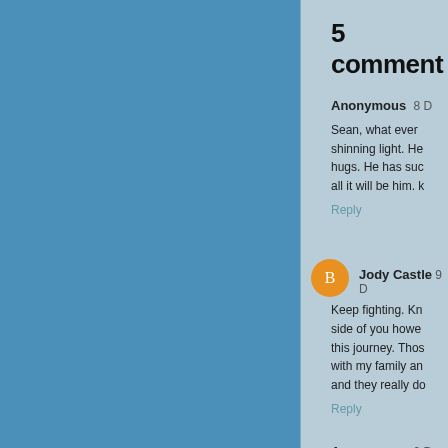5 comments
Anonymous 8 D
Sean, what ever shinning light. He hugs. He has suc all it will be him. k
Reply
Jody Castle 9 D
Keep fighting. Kn side of you howe this journey. Thos with my family an and they really do
Reply
Anonymous 9 D